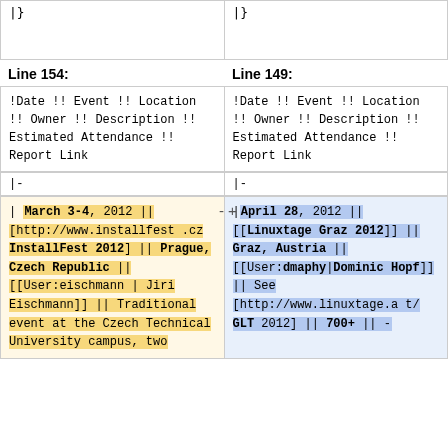|}

|}
Line 154:
Line 149:
!Date !! Event !!
Location !! Owner !!
Description !!
Estimated Attendance
!! Report Link
!Date !! Event !!
Location !! Owner !!
Description !!
Estimated Attendance
!! Report Link
|-
|-
| March 3-4, 2012 || [http://www.installfest.cz  InstallFest 2012] || Prague, Czech Republic || [[User:eischmann | Jiri Eischmann]] || Traditional event at the Czech Technical University campus, two
|April 28, 2012 || [[Linuxtage Graz 2012]] || Graz, Austria || [[User:dmaphy|Dominic Hopf]] || See [http://www.linuxtage.at/ GLT 2012] || 700+ || -